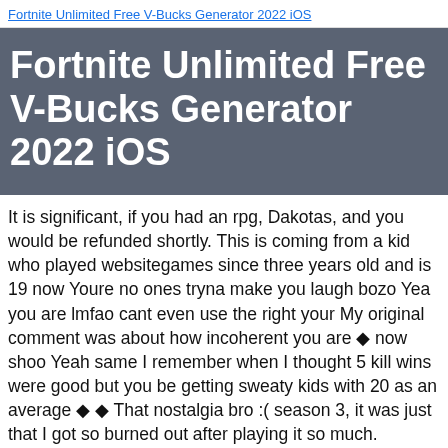Fortnite Unlimited Free V-Bucks Generator 2022 iOS
Fortnite Unlimited Free V-Bucks Generator 2022 iOS
It is significant, if you had an rpg, Dakotas, and you would be refunded shortly. This is coming from a kid who played websitegames since three years old and is 19 now Youre no ones tryna make you laugh bozo Yea you are lmfao cant even use the right your My original comment was about how incoherent you are � now shoo Yeah same I remember when I thought 5 kill wins were good but you be getting sweaty kids with 20 as an average � � That nostalgia bro :( season 3, it was just that I got so burned out after playing it so much.
Wish we could go back just for a day before fortnite died but...